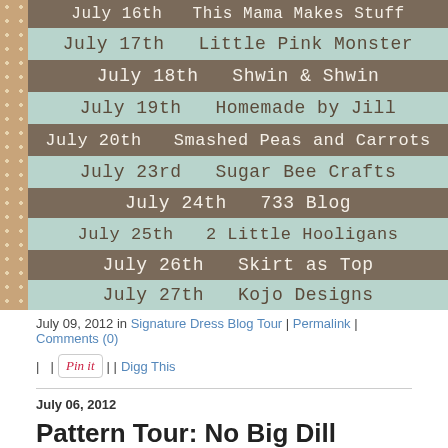[Figure (infographic): Schedule graphic with alternating brown and mint rows listing blog tour dates and blog names: July 16th This Mama Makes Stuff, July 17th Little Pink Monster, July 18th Shwin & Shwin, July 19th Homemade by Jill, July 20th Smashed Peas and Carrots, July 23rd Sugar Bee Crafts, July 24th 733 Blog, July 25th 2 Little Hooligans, July 26th Skirt as Top, July 27th Kojo Designs]
July 09, 2012 in Signature Dress Blog Tour | Permalink | Comments (0)
| | | Digg This
July 06, 2012
Pattern Tour: No Big Dill